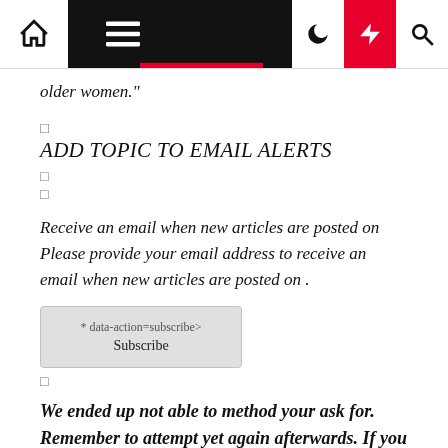Navigation bar with home, menu, moon, lightning, and search icons
older women."
□
ADD TOPIC TO EMAIL ALERTS
□
□
Receive an email when new articles are posted on Please provide your email address to receive an email when new articles are posted on .
* data-action=subscribe> Subscribe
□
We ended up not able to method your ask for. Remember to attempt yet again afterwards. If you go on to have this difficulty make sure you get hold